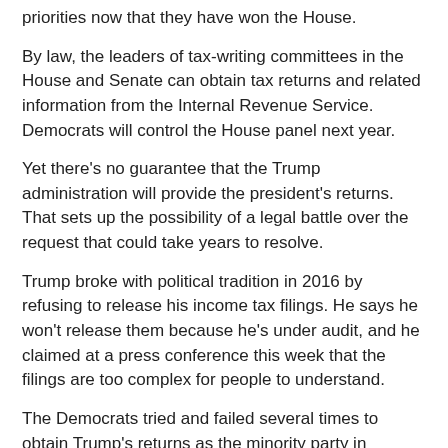priorities now that they have won the House.
By law, the leaders of tax-writing committees in the House and Senate can obtain tax returns and related information from the Internal Revenue Service. Democrats will control the House panel next year.
Yet there's no guarantee that the Trump administration will provide the president's returns. That sets up the possibility of a legal battle over the request that could take years to resolve.
Trump broke with political tradition in 2016 by refusing to release his income tax filings. He says he won't release them because he's under audit, and he claimed at a press conference this week that the filings are too complex for people to understand.
The Democrats tried and failed several times to obtain Trump's returns as the minority party in Congress. Now, having gained some control, they see them within their grasp.
Eyes are on Rep. Richard Neal of Massachusetts, who